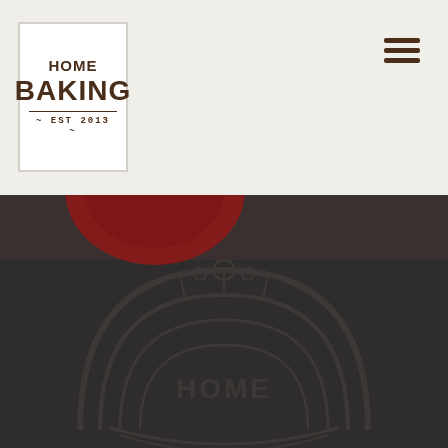HOME BAKING ~ EST 2013 ~
[Figure (logo): Home Baking logo with hamburger menu icon in top-right corner, dark red circular shape partially visible below header]
[Figure (illustration): Dark background with faint watermark circular badge logo of Home Baking]